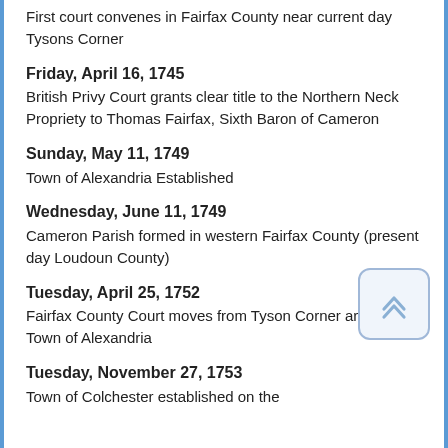First court convenes in Fairfax County near current day Tysons Corner
Friday, April 16, 1745 — British Privy Court grants clear title to the Northern Neck Propriety to Thomas Fairfax, Sixth Baron of Cameron
Sunday, May 11, 1749 — Town of Alexandria Established
Wednesday, June 11, 1749 — Cameron Parish formed in western Fairfax County (present day Loudoun County)
Tuesday, April 25, 1752 — Fairfax County Court moves from Tyson Corner area to Town of Alexandria
Tuesday, November 27, 1753 — Town of Colchester established on the